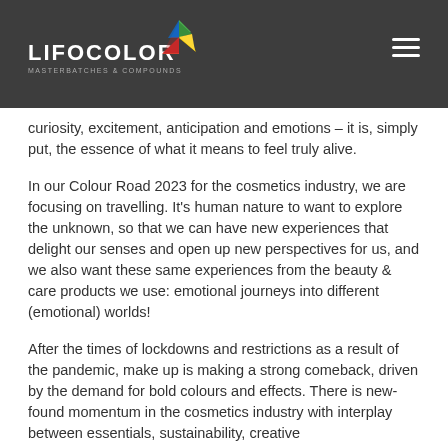LIFOCOLOR MASTERBATCHES & COMPOUNDS
curiosity, excitement, anticipation and emotions – it is, simply put, the essence of what it means to feel truly alive.
In our Colour Road 2023 for the cosmetics industry, we are focusing on travelling. It's human nature to want to explore the unknown, so that we can have new experiences that delight our senses and open up new perspectives for us, and we also want these same experiences from the beauty & care products we use: emotional journeys into different (emotional) worlds!
After the times of lockdowns and restrictions as a result of the pandemic, make up is making a strong comeback, driven by the demand for bold colours and effects. There is new-found momentum in the cosmetics industry with interplay between essentials, sustainability, creative boldness and innovation.